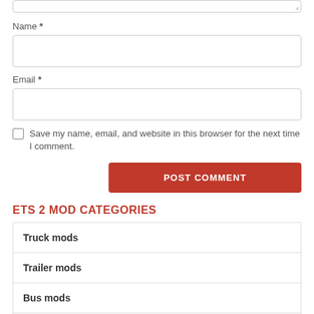[Figure (screenshot): Top portion of a textarea input box with resize handle visible at bottom right corner]
Name *
[Figure (screenshot): Empty text input field for Name]
Email *
[Figure (screenshot): Empty text input field for Email]
Save my name, email, and website in this browser for the next time I comment.
[Figure (screenshot): POST COMMENT button in red/orange]
ETS 2 MOD CATEGORIES
Truck mods
Trailer mods
Bus mods